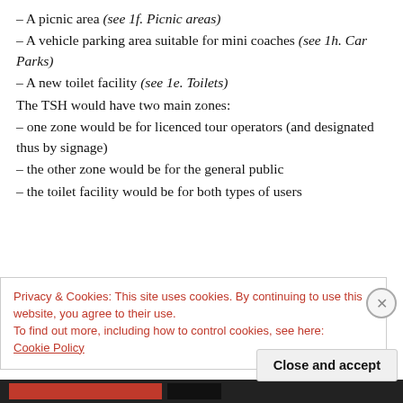– A picnic area (see 1f. Picnic areas)
– A vehicle parking area suitable for mini coaches (see 1h. Car Parks)
– A new toilet facility (see 1e. Toilets)
The TSH would have two main zones:
– one zone would be for licenced tour operators (and designated thus by signage)
– the other zone would be for the general public
– the toilet facility would be for both types of users
Privacy & Cookies: This site uses cookies. By continuing to use this website, you agree to their use.
To find out more, including how to control cookies, see here:
Cookie Policy
Close and accept